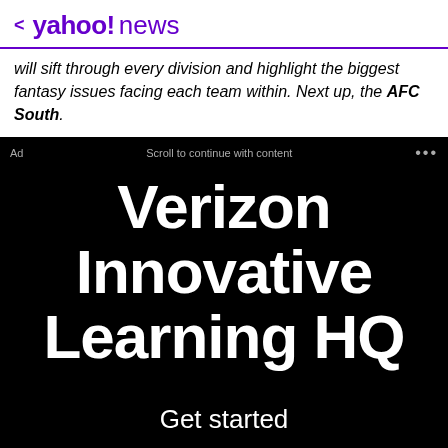< yahoo!news
will sift through every division and highlight the biggest fantasy issues facing each team within. Next up, the AFC South.
[Figure (screenshot): Verizon Innovative Learning HQ advertisement on black background with 'Get started' call to action. Ad label, scroll to continue with content text, and ellipsis menu shown at top.]